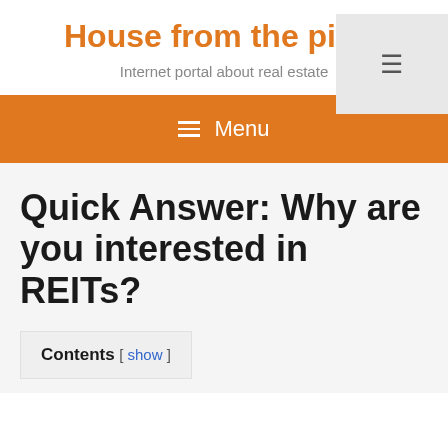House from the pictu
Internet portal about real estate
≡ Menu
Quick Answer: Why are you interested in REITs?
Contents [ show ]